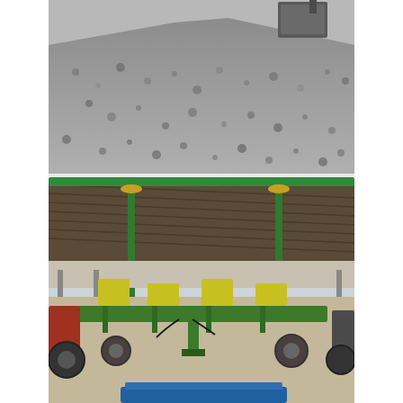[Figure (photo): A composite photograph showing two agricultural scenes stacked vertically. The top portion shows a large pile of gray gravel or aggregate material with a mechanical bucket or loader visible at the upper right corner. The bottom portion shows a green John Deere multi-row planter or seeder implement parked under a large open-sided metal storage structure or shed with a corrugated roof supported by green and yellow vertical poles. Farm equipment and buildings are visible in the background. A portion of another piece of blue farm equipment is visible at the very bottom of the image.]